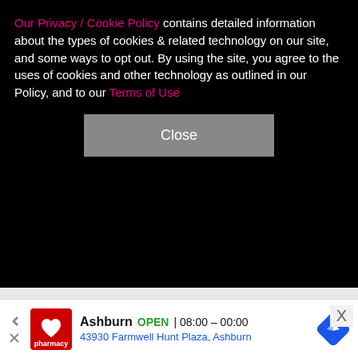Our Privacy / Cookie Policy contains detailed information about the types of cookies & related technology on our site, and some ways to opt out. By using the site, you agree to the uses of cookies and other technology as outlined in our Policy, and to our Terms of Use
Close
Reiner film tells the age-old tale of friends turning into something more when Harry (Billy Crystal) falls for Sally (Meg Ryan) while simultaneously portraying things in a painfully realistic fashion with dashes of hilarity thrown in. From iconic scenes like the one in the deli and that perfect New Year's Eve kiss, this Nora Ephron-penned dream of a romantic comedy stands the test of time. It's a textbook-perfect example of the genre.
6/30
[Figure (other): CVS Pharmacy advertisement banner showing store location in Ashburn, open hours 08:00-00:00, address 43930 Farmwell Hunt Plaza, Ashburn, with navigation arrow icon]